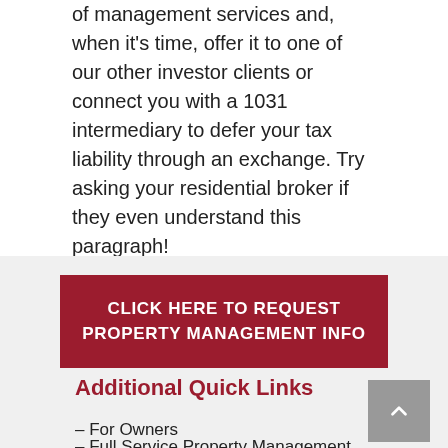of management services and, when it's time, offer it to one of our other investor clients or connect you with a 1031 intermediary to defer your tax liability through an exchange. Try asking your residential broker if they even understand this paragraph!
CLICK HERE TO REQUEST PROPERTY MANAGEMENT INFO
Additional Quick Links
– For Owners
– Full Service Property Management
– Vacancy Marketing